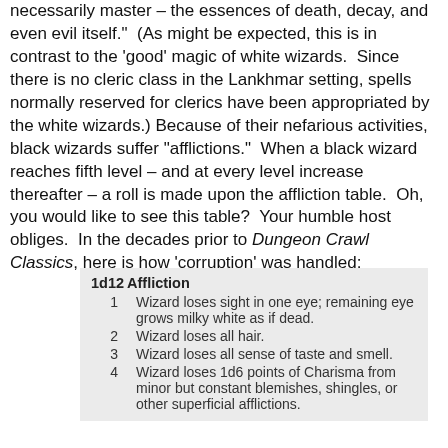necessarily master – the essences of death, decay, and even evil itself." (As might be expected, this is in contrast to the 'good' magic of white wizards.  Since there is no cleric class in the Lankhmar setting, spells normally reserved for clerics have been appropriated by the white wizards.)  Because of their nefarious activities, black wizards suffer "afflictions."  When a black wizard reaches fifth level – and at every level increase thereafter – a roll is made upon the affliction table.  Oh, you would like to see this table?  Your humble host obliges.  In the decades prior to Dungeon Crawl Classics, here is how 'corruption' was handled:
| 1d12 | Affliction |
| --- | --- |
| 1 | Wizard loses sight in one eye; remaining eye grows milky white as if dead. |
| 2 | Wizard loses all hair. |
| 3 | Wizard loses all sense of taste and smell. |
| 4 | Wizard loses 1d6 points of Charisma from minor but constant blemishes, shingles, or other superficial afflictions. |